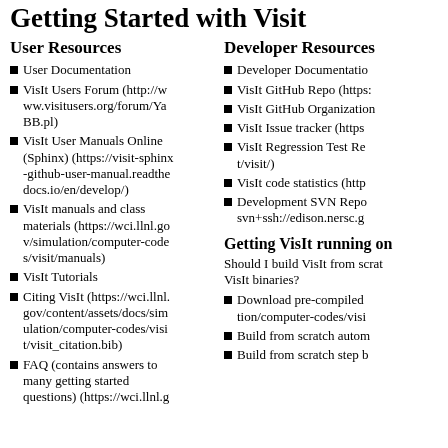Getting Started with Visit
User Resources
User Documentation
VisIt Users Forum (http://www.visitusers.org/forum/YaBB.pl)
VisIt User Manuals Online (Sphinx) (https://visit-sphinx-github-user-manual.readthedocs.io/en/develop/)
VisIt manuals and class materials (https://wci.llnl.gov/simulation/computer-codes/visit/manuals)
VisIt Tutorials
Citing VisIt (https://wci.llnl.gov/content/assets/docs/simulation/computer-codes/visit/visit_citation.bib)
FAQ (contains answers to many getting started questions) (https://wci.llnl.g
Developer Resources
Developer Documentation
VisIt GitHub Repo (http:…
VisIt GitHub Organization
VisIt Issue tracker (https…
VisIt Regression Test Re… t/visit/)
VisIt code statistics (http…
Development SVN Repo… svn+ssh://edison.nersc.g
Getting VisIt running on…
Should I build VisIt from scratch… VisIt binaries?
Download pre-compiled… tion/computer-codes/visi…
Build from scratch autom…
Build from scratch step b…